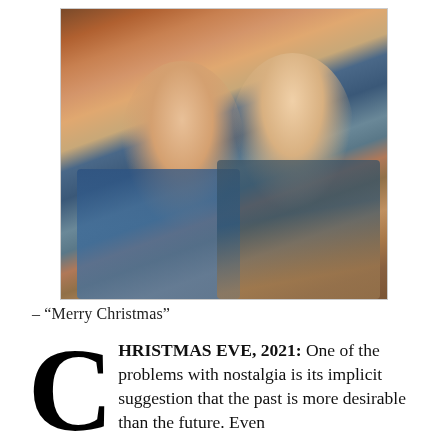[Figure (photo): A smiling couple posing outdoors in front of a brick arch. The woman on the left has short gray hair, glasses, and wears a blue denim jacket with a pearl necklace. The man on the right has glasses and wears a teal shirt with a dark scarf and brown jacket.]
– “Merry Christmas”
CHRISTMAS EVE, 2021: One of the problems with nostalgia is its implicit suggestion that the past is more desirable than the future. Even